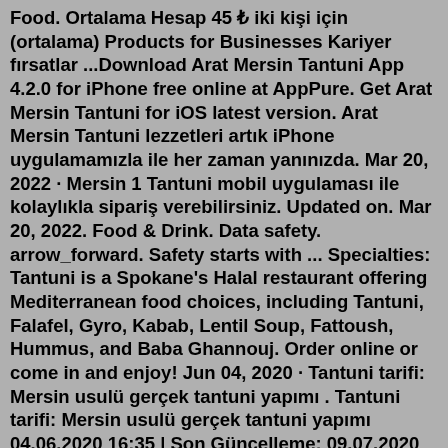Food. Ortalama Hesap 45 ₺ iki kişi için (ortalama) Products for Businesses Kariyer fırsatlar ...Download Arat Mersin Tantuni App 4.2.0 for iPhone free online at AppPure. Get Arat Mersin Tantuni for iOS latest version. Arat Mersin Tantuni lezzetleri artık iPhone uygulamamızla ile her zaman yanınızda. Mar 20, 2022 · Mersin 1 Tantuni mobil uygulaması ile kolaylıkla sipariş verebilirsiniz. Updated on. Mar 20, 2022. Food & Drink. Data safety. arrow_forward. Safety starts with ... Specialties: Tantuni is a Spokane's Halal restaurant offering Mediterranean food choices, including Tantuni, Falafel, Gyro, Kabab, Lentil Soup, Fattoush, Hummus, and Baba Ghannouj. Order online or come in and enjoy! Jun 04, 2020 · Tantuni tarifi: Mersin usulü gerçek tantuni yapımı . Tantuni tarifi: Mersin usulü gerçek tantuni yapımı 04.06.2020 16:35 | Son Güncelleme: 09.07.2020 13:59 TAKİP ET. Arat Mersin Tantuni lezzetleri artık Android uygulamamızla ile her zaman yanınızda. Uygulamamız ile; * Menümüzü inceleyin. * Sipariş